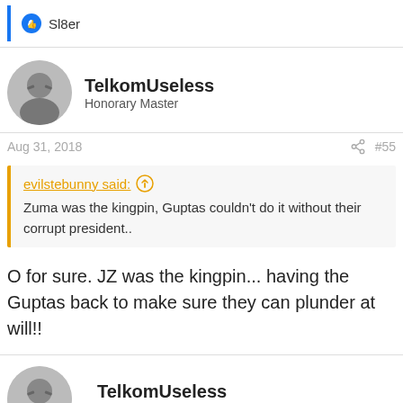Sl8er
TelkomUseless
Honorary Master
Aug 31, 2018 #55
evilstebunny said: Zuma was the kingpin, Guptas couldn't do it without their corrupt president..
O for sure. JZ was the kingpin... having the Guptas back to make sure they can plunder at will!!
TelkomUseless
Honorary Master